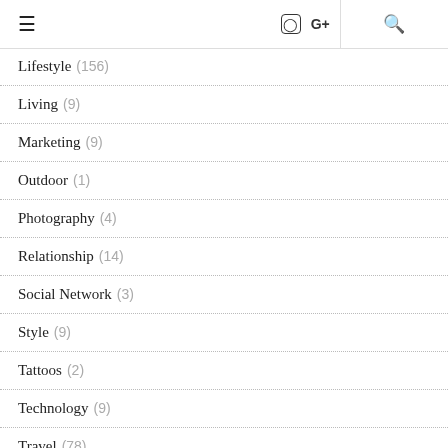≡  ⊙  G+  🔍
Lifestyle (156)
Living (9)
Marketing (9)
Outdoor (1)
Photography (4)
Relationship (14)
Social Network (3)
Style (9)
Tattoos (2)
Technology (9)
Travel (78)
Wedding (16)